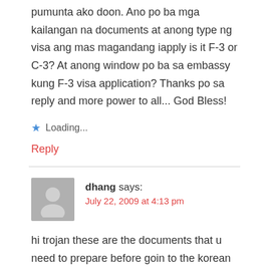pumunta ako doon. Ano po ba mga kailangan na documents at anong type ng visa ang mas magandang iapply is it F-3 or C-3? At anong window po ba sa embassy kung F-3 visa application? Thanks po sa reply and more power to all... God Bless!
Loading...
Reply
dhang says:
July 22, 2009 at 4:13 pm
hi trojan these are the documents that u need to prepare before goin to the korean embassy.you need c3 visa then renew it pag nsa korea k na.sop kz un for f3 visa.good